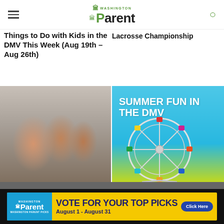Washington Parent
Things to Do with Kids in the DMV This Week (Aug 19th – Aug 26th)
Lacrosse Championship
[Figure (photo): Family of four sitting together on a couch, smiling]
[Figure (infographic): Summer Fun in the DMV advertisement with ferris wheel and blue sky background]
Close
[Figure (infographic): Washington Parent ad banner: VOTE FOR YOUR TOP PICKS August 1 - August 31 Click Here]